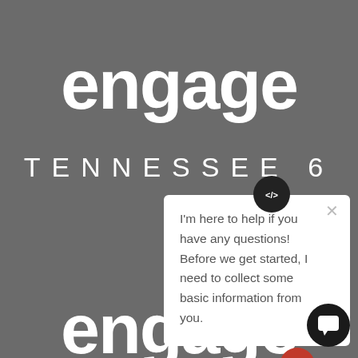engage
TENNESSEE 6
[Figure (screenshot): Chat popup overlay with close button (×) and message: I'm here to help if you have any questions! Before we get started, I need to collect some basic information from you.]
I'm here to help if you have any questions! Before we get started, I need to collect some basic information from you.
engage